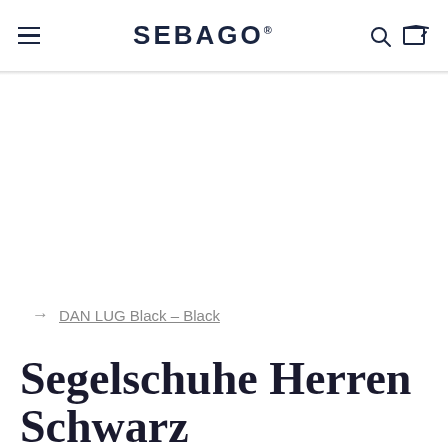SEBAGO
→ DAN LUG Black – Black
Segelschuhe Herren Schwarz